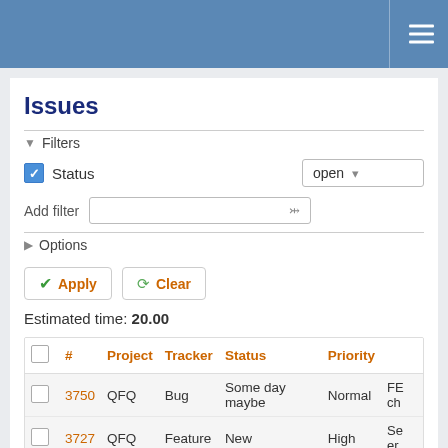Issues — navigation bar with hamburger menu
Issues
▼ Filters
Status: open
Add filter
▶ Options
Apply  Clear
Estimated time: 20.00
|  | # | Project | Tracker | Status | Priority |  |
| --- | --- | --- | --- | --- | --- | --- |
|  | 3750 | QFQ | Bug | Some day maybe | Normal | FE
ch |
|  | 3727 | QFQ | Feature | New | High | Se
er |
|  |  | QFQ | Feature | Some day maybe | Normal | Fo |